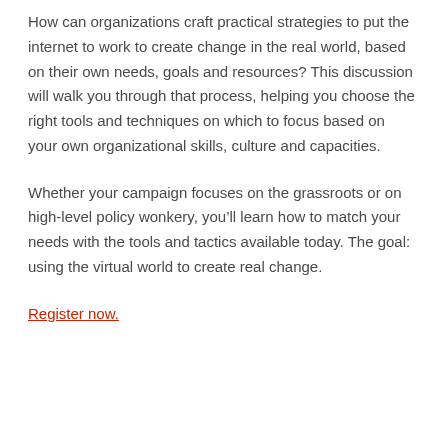How can organizations craft practical strategies to put the internet to work to create change in the real world, based on their own needs, goals and resources? This discussion will walk you through that process, helping you choose the right tools and techniques on which to focus based on your own organizational skills, culture and capacities.
Whether your campaign focuses on the grassroots or on high-level policy wonkery, you’ll learn how to match your needs with the tools and tactics available today. The goal: using the virtual world to create real change.
Register now.